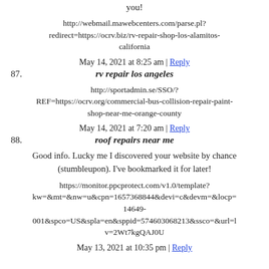you!
http://webmail.mawebcenters.com/parse.pl?redirect=https://ocrv.biz/rv-repair-shop-los-alamitos-california
May 14, 2021 at 8:25 am | Reply
87. rv repair los angeles
http://sportadmin.se/SSO/?REF=https://ocrv.org/commercial-bus-collision-repair-paint-shop-near-me-orange-county
May 14, 2021 at 7:20 am | Reply
88. roof repairs near me
Good info. Lucky me I discovered your website by chance (stumbleupon). I've bookmarked it for later!
https://monitor.ppcprotect.com/v1.0/template?kw=&mt=&nw=u&cpn=1657368844&devi=c&devm=&locp=14649-001&spco=US&spla=en&sppid=574603068213&ssco=&url=...v=2Wt7kgQAJ0U
May 13, 2021 at 10:35 pm | Reply